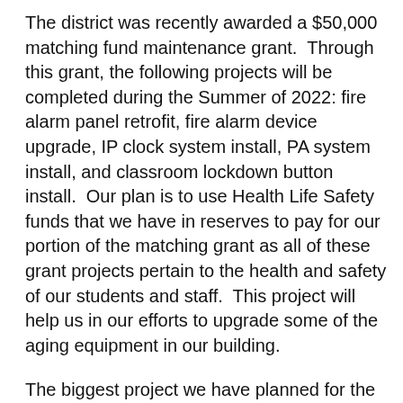The district was recently awarded a $50,000 matching fund maintenance grant.  Through this grant, the following projects will be completed during the Summer of 2022: fire alarm panel retrofit, fire alarm device upgrade, IP clock system install, PA system install, and classroom lockdown button install.  Our plan is to use Health Life Safety funds that we have in reserves to pay for our portion of the matching grant as all of these grant projects pertain to the health and safety of our students and staff.  This project will help us in our efforts to upgrade some of the aging equipment in our building.
The biggest project we have planned for the near future involves an addition to the building.  Our community is growing, and we